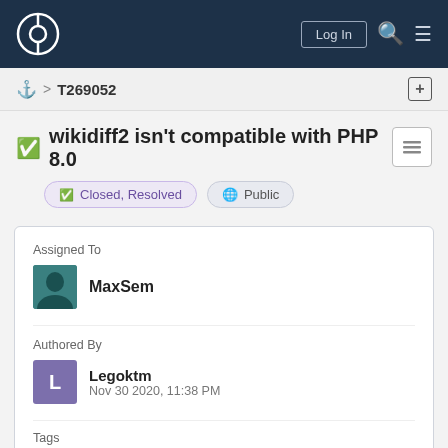Wikimedia Phabricator – Log In
⚓ > T269052
wikidiff2 isn't compatible with PHP 8.0
Closed, Resolved   Public
Assigned To
MaxSem
Authored By
Legoktm
Nov 30 2020, 11:38 PM
Tags
wikidiff2 (Backlog)
PHP 8.0 support (Wikimedia production)
Patch-For-Review